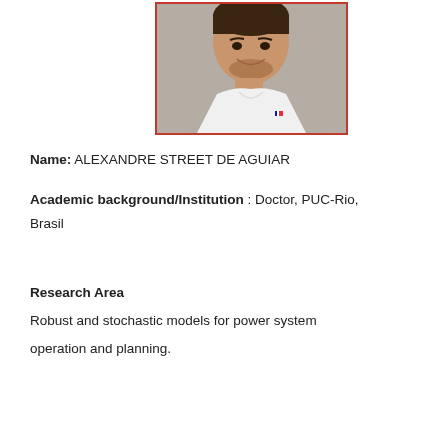[Figure (photo): Portrait photo of Alexandre Street de Aguiar, a young man smiling, wearing a white polo shirt, framed with a red/orange border]
Name: ALEXANDRE STREET DE AGUIAR
Academic background/Institution : Doctor, PUC-Rio, Brasil
Research Area
Robust and stochastic models for power system operation and planning.